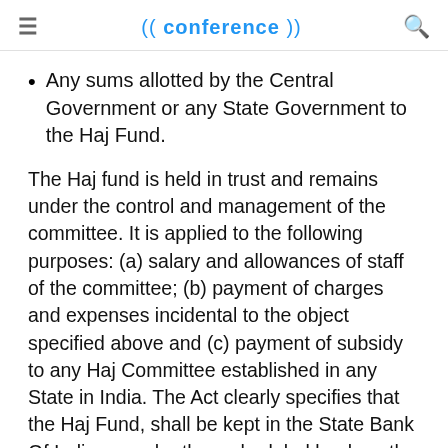≡   (( conference ))   🔍
Any sums allotted by the Central Government or any State Government to the Haj Fund.
The Haj fund is held in trust and remains under the control and management of the committee. It is applied to the following purposes: (a) salary and allowances of staff of the committee; (b) payment of charges and expenses incidental to the object specified above and (c) payment of subsidy to any Haj Committee established in any State in India. The Act clearly specifies that the Haj Fund, shall be kept in the State Bank Of India or such other scheduled bank as the Central Government may from time to time direct. It also makes clear